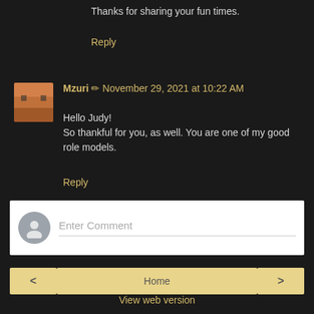Thanks for sharing your fun times.
Reply
Mzuri ✏ November 29, 2021 at 10:22 AM
Hello Judy!
So thankful for you, as well. You are one of my good role models.
Reply
[Figure (other): Comment input box with user avatar placeholder and 'Enter Comment' placeholder text]
< Home >
View web version
Powered by Blogger.